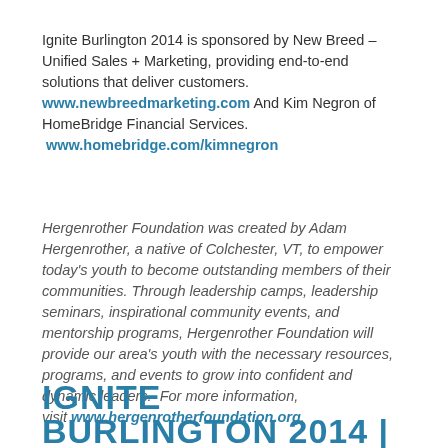Ignite Burlington 2014 is sponsored by New Breed – Unified Sales + Marketing, providing end-to-end solutions that deliver customers. www.newbreedmarketing.com And Kim Negron of HomeBridge Financial Services. www.homebridge.com/kimnegron
Hergenrother Foundation was created by Adam Hergenrother, a native of Colchester, VT, to empower today's youth to become outstanding members of their communities. Through leadership camps, leadership seminars, inspirational community events, and mentorship programs, Hergenrother Foundation will provide our area's youth with the necessary resources, programs, and events to grow into confident and dynamic leaders. For more information, visit www.hergenrotherfoundation.org.
IGNITE BURLINGTON 2014 |